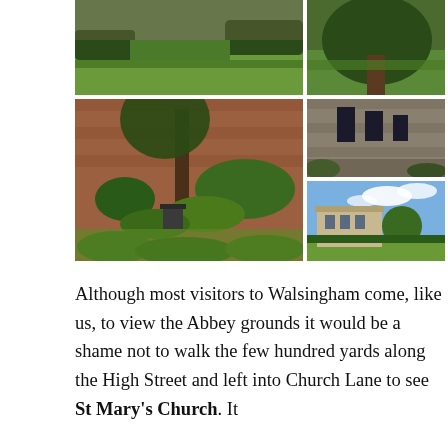[Figure (photo): Collage of five photographs of Walsingham Abbey grounds and St Mary's Church area: top-left shows green lawn with hedges and stone wall, top-right shows trees and garden, main left shows walled garden with brick wall, trees, ferns and hostas, mid-right shows stone ruins with Gothic arched windows, bottom-right shows a classical building on open lawn under blue sky.]
Although most visitors to Walsingham come, like us, to view the Abbey grounds it would be a shame not to walk the few hundred yards along the High Street and left into Church Lane to see St Mary's Church. It